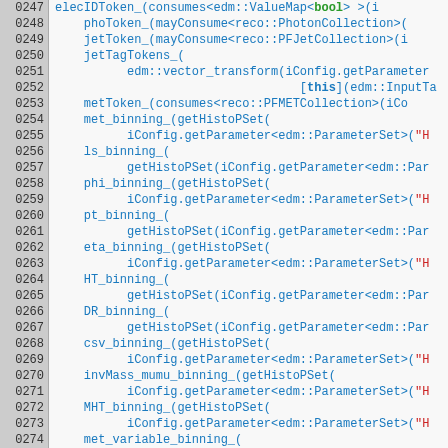[Figure (screenshot): Source code listing showing C++ constructor initializer list with line numbers 0247-0276. Lines show token and binning variable initializations using edm and iConfig template calls. Syntax highlighted: blue for identifiers/functions, green for types/keywords, red for string literals, bold green for 'bool', bold blue for 'this'.]